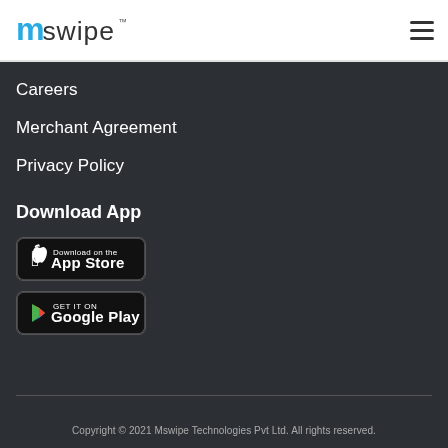[Figure (logo): Mswipe logo with 'm' in cyan/blue and 'swipe' in dark text with TM mark]
[Figure (illustration): Hamburger menu icon (three horizontal lines)]
Careers
Merchant Agreement
Privacy Policy
Download App
[Figure (illustration): Download on the App Store button (black rounded rectangle with Apple logo)]
[Figure (illustration): GET IT ON Google Play button (black rounded rectangle with Google Play logo)]
Copyright © 2021 Mswipe Technologies Pvt Ltd. All rights reserved.